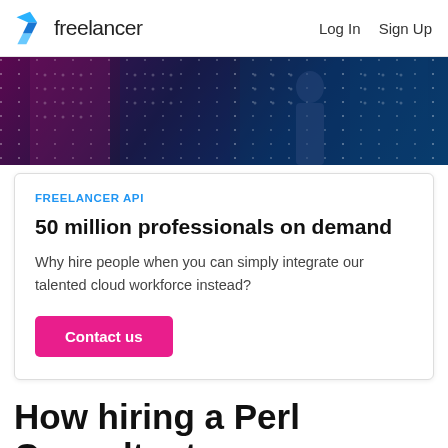Freelancer | Log In | Sign Up
[Figure (photo): Dark blue and purple server rack / data center background image with dot grid pattern overlay]
FREELANCER API
50 million professionals on demand
Why hire people when you can simply integrate our talented cloud workforce instead?
Contact us
How hiring a Perl Consultant